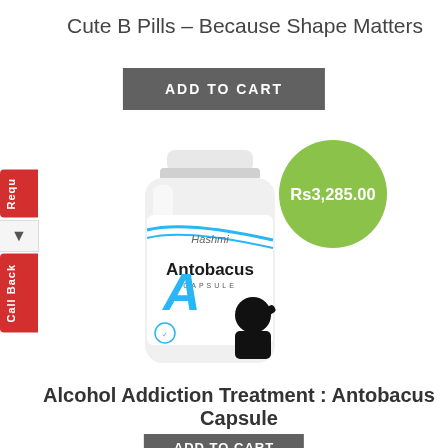Cute B Pills – Because Shape Matters
ADD TO CART
[Figure (photo): White pill bottle with Hashmi Antobacus Capsule label featuring a silhouette of a person drinking and a green price badge showing Rs3,285.00]
Alcohol Addiction Treatment : Antobacus Capsule